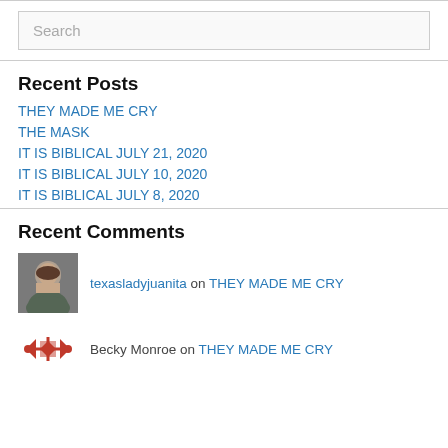[Figure (other): Search input box with placeholder text 'Search']
Recent Posts
THEY MADE ME CRY
THE MASK
IT IS BIBLICAL JULY 21, 2020
IT IS BIBLICAL JULY 10, 2020
IT IS BIBLICAL JULY 8, 2020
Recent Comments
texasladyjuanita on THEY MADE ME CRY
Becky Monroe on THEY MADE ME CRY